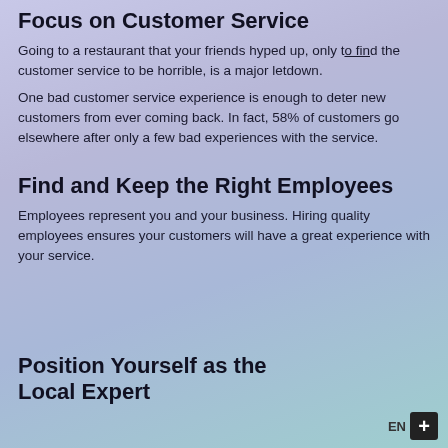Focus on Customer Service
Going to a restaurant that your friends hyped up, only to find the customer service to be horrible, is a major letdown.
One bad customer service experience is enough to deter new customers from ever coming back. In fact, 58% of customers go elsewhere after only a few bad experiences with the service.
Find and Keep the Right Employees
Employees represent you and your business. Hiring quality employees ensures your customers will have a great experience with your service.
Position Yourself as the Local Expert